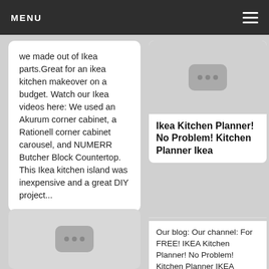MENU
we made out of Ikea parts.Great for an ikea kitchen makeover on a budget. Watch our Ikea videos here: We used an Akurum corner cabinet, a Rationell corner cabinet carousel, and NUMERR Butcher Block Countertop. This Ikea kitchen island was inexpensive and a great DIY project...
[Figure (screenshot): Video thumbnail placeholder with three dots icon, bottom-left card]
[Figure (screenshot): Video thumbnail placeholder with three dots icon, right column top card]
Ikea Kitchen Planner! No Problem! Kitchen Planner Ikea
Our blog: Our channel: For FREE! IKEA Kitchen Planner! No Problem! Kitchen Planner IKEA